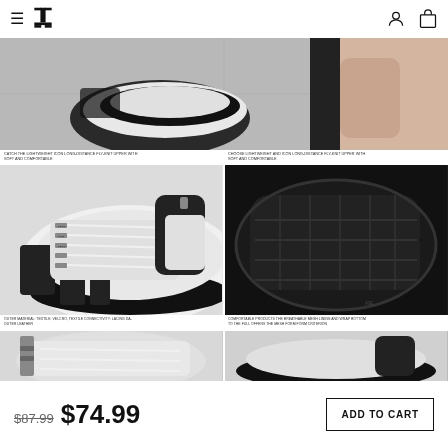Navigation header with hamburger menu, logo, user icon, and cart icon
[Figure (photo): Close-up photo of a black and white chunky sneaker being worn, shot from above on grey tile floor]
[Figure (photo): Close-up of white sneaker upper with black metallic lace hardware and branding text on laces]
[Figure (photo): Close-up of black rubber outsole/sole of the sneaker showing tread pattern]
[Figure (photo): Partial cropped view of white sneaker upper with laces, bottom row]
[Figure (photo): Partial cropped view of sneaker side profile, bottom row]
CATCH THE LIGHTWEIGHT ICON LONG-DISTANCE FLY-KNIT UPPER WITH SOFT AND COMFORTABLE
CHOOSE LIGHTWEIGHT AND ICON LONG-DISTANCE FLY-KNIT UPPER WITH SOFT AND COMFORTABLE
OUTER MATERIAL: TEXTILE, VELCRO, TEXTILE CONNECTIVITY: LACING DA-OUTER LEATHER
COMFORTABLE PRODUCTS THE BREATHABLE MESH LINING AND WRAP BOTTOM TO THE FULL OFFERS THE MESH FORM FORM CRITERION
$87.99 $74.99
ADD TO CART